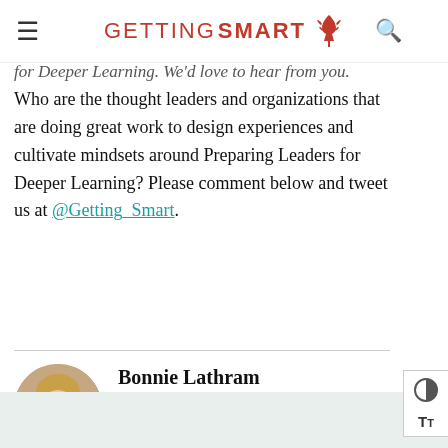GETTING SMART
for Deeper Learning. We'd love to hear from you. Who are the thought leaders and organizations that are doing great work to design experiences and cultivate mindsets around Preparing Leaders for Deeper Learning? Please comment below and tweet us at @Getting_Smart.
Bonnie Lathram
@belathram
Bonnie Lathram is a student advocate and former teacher.